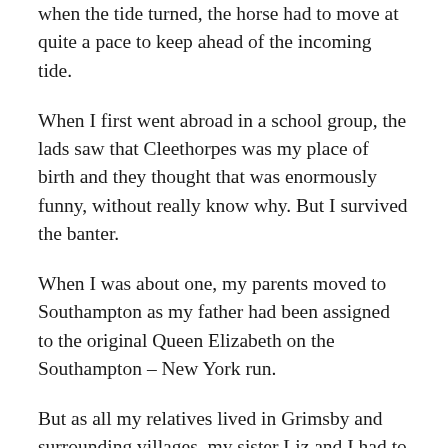when the tide turned, the horse had to move at quite a pace to keep ahead of the incoming tide.
When I first went abroad in a school group, the lads saw that Cleethorpes was my place of birth and they thought that was enormously funny, without really know why. But I survived the banter.
When I was about one, my parents moved to Southampton as my father had been assigned to the original Queen Elizabeth on the Southampton – New York run.
But as all my relatives lived in Grimsby and surrounding villages, my sister Liz and I had to go to Grimsby at least once a year. It was usually in the Easter school holidays and if father was away, mother would drive us there. She didn't like having to overtake large lorries, so that if we were stuck behind one, she would pull into a lay-by and